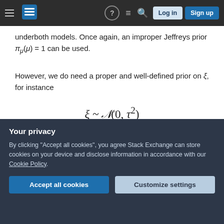Stack Exchange navigation bar
underboth models. Once again, an improper Jeffreys prior π_μ(μ) = 1 can be used.
However, we do need a proper and well-defined prior on ξ, for instance
which leads to
Your privacy
By clicking "Accept all cookies", you agree Stack Exchange can store cookies on your device and disclose information in accordance with our Cookie Policy.